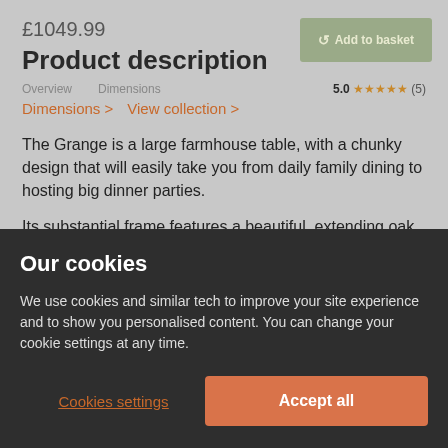£1049.99
Product description
Overview   Dimensions   5.0 ★★★★★ (5)
Dimensions >   View collection >
The Grange is a large farmhouse table, with a chunky design that will easily take you from daily family dining to hosting big dinner parties.
Its substantial frame features a beautiful, extending oak
Our cookies
We use cookies and similar tech to improve your site experience and to show you personalised content. You can change your cookie settings at any time.
Cookies settings
Accept all